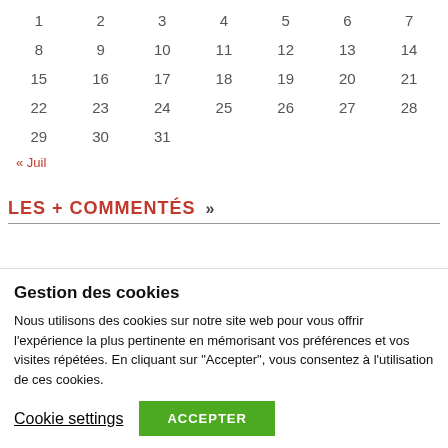| 1 | 2 | 3 | 4 | 5 | 6 | 7 |
| 8 | 9 | 10 | 11 | 12 | 13 | 14 |
| 15 | 16 | 17 | 18 | 19 | 20 | 21 |
| 22 | 23 | 24 | 25 | 26 | 27 | 28 |
| 29 | 30 | 31 |  |  |  |  |
« Juil
LES + COMMENTÉS »
Gestion des cookies
Nous utilisons des cookies sur notre site web pour vous offrir l'expérience la plus pertinente en mémorisant vos préférences et vos visites répétées. En cliquant sur "Accepter", vous consentez à l'utilisation de ces cookies.
Cookie settings
ACCEPTER